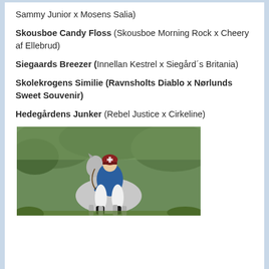Sammy Junior x Mosens Salia)
Skousboe Candy Floss (Skousboe Morning Rock x Cheery af Ellebrud)
Siegaards Breezer (Innellan Kestrel x Siegård´s Britania)
Skolekrogens Similie (Ravnsholts Diablo x Nørlunds Sweet Souvenir)
Hedegårdens Junker (Rebel Justice x Cirkeline)
[Figure (photo): A young rider in a blue shirt and helmet riding a grey/white horse outdoors with green foliage in the background]